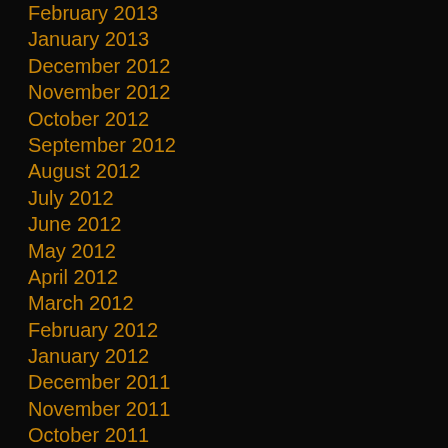February 2013
January 2013
December 2012
November 2012
October 2012
September 2012
August 2012
July 2012
June 2012
May 2012
April 2012
March 2012
February 2012
January 2012
December 2011
November 2011
October 2011
September 2011
August 2011
July 2011
June 2011